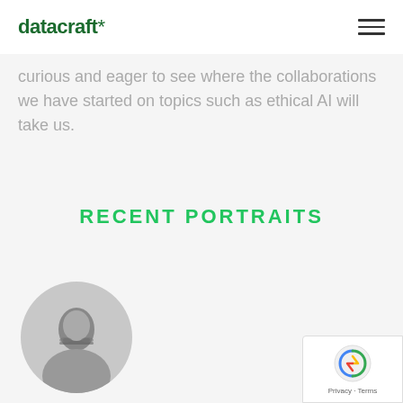datacraft*
curious and eager to see where the collaborations we have started on topics such as ethical AI will take us.
RECENT PORTRAITS
[Figure (photo): Black and white circular portrait photo of a man wearing glasses, partially cropped at bottom of page]
[Figure (other): Google reCAPTCHA badge with Privacy and Terms links]